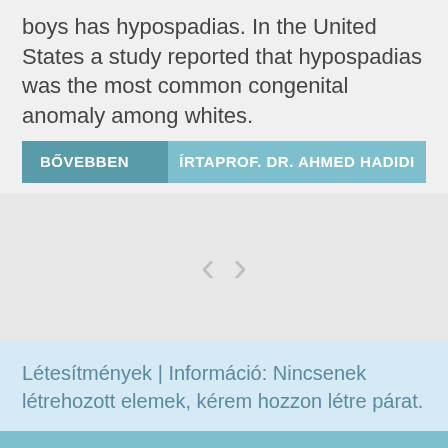boys has hypospadias. In the United States a study reported that hypospadias was the most common congenital anomaly among whites.
BŐVEBBEN   ÍRTAPROF. DR. AHMED HADIDI
[Figure (other): Navigation arrows (left and right chevrons) on a light gray background]
Létesítmények  |  Információ: Nincsenek létrehozott elemek, kérem hozzon létre párat.